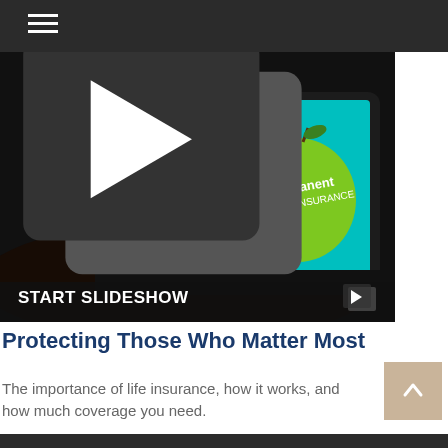[Figure (screenshot): Slideshow thumbnail showing a hand touching a tablet screen with two apples labeled 'Permanent Life Insurance'. Text on screen reads 'What Are Your Options?' with a START SLIDESHOW label and play icon at the bottom.]
Protecting Those Who Matter Most
The importance of life insurance, how it works, and how much coverage you need.